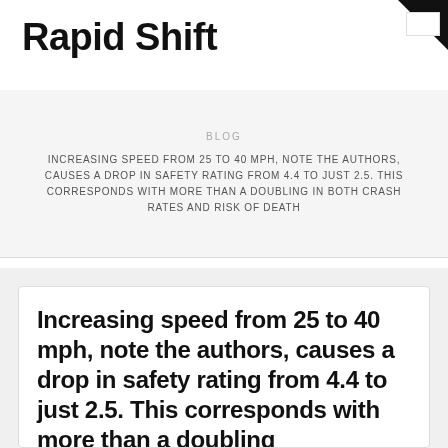Rapid Shift
BLOG
INCREASING SPEED FROM 25 TO 40 MPH, NOTE THE AUTHORS, CAUSES A DROP IN SAFETY RATING FROM 4.4 TO JUST 2.5. THIS CORRESPONDS WITH MORE THAN A DOUBLING IN BOTH CRASH RATES AND RISK OF DEATH
Increasing speed from 25 to 40 mph, note the authors, causes a drop in safety rating from 4.4 to just 2.5. This corresponds with more than a doubling